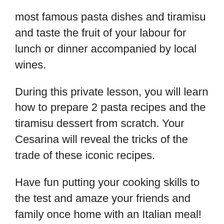most famous pasta dishes and tiramisu and taste the fruit of your labour for lunch or dinner accompanied by local wines.
During this private lesson, you will learn how to prepare 2 pasta recipes and the tiramisu dessert from scratch. Your Cesarina will reveal the tricks of the trade of these iconic recipes.
Have fun putting your cooking skills to the test and amaze your friends and family once home with an Italian meal! This experience is suitable for families with children of all ages.
Le Cesarine is Italy's oldest network of home cooks all over the country in more than 120 cities. They are passionate and welcoming hosts that open the doors of their own homes to curious travellers for immersive culinary experiences.